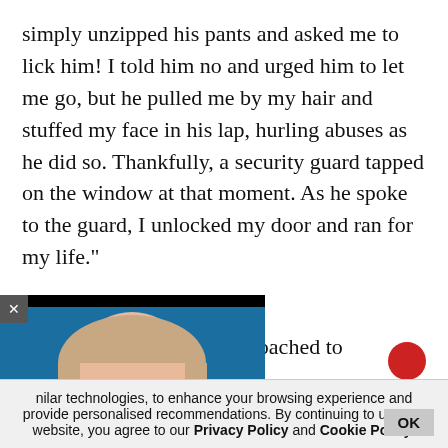simply unzipped his pants and asked me to lick him! I told him no and urged him to let me go, but he pulled me by my hair and stuffed my face in his lap, hurling abuses as he did so. Thankfully, a security guard tapped on the window at that moment. As he spoke to the guard, I unlocked my door and ran for my life."
Survivor 2
A budding singer was approached to participate in the wild card entry. "I refused k [one of the judges] has r. I told them that I will
[Figure (photo): Video overlay showing a woman with blonde/light brown hair wearing a dark top, against a blue background. A close button (x) is visible in the top-left corner of the overlay.]
nilar technologies, to enhance your browsing experience and provide personalised recommendations. By continuing to use our website, you agree to our Privacy Policy and Cookie Policy.